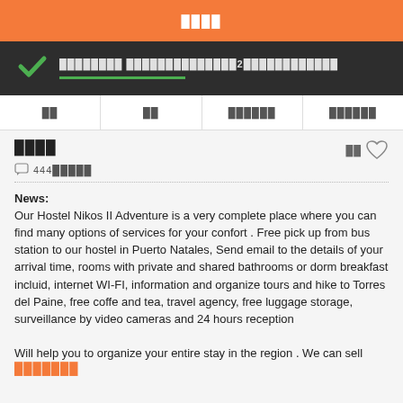████
████████ ██████████████2████████████
██ │ ██ │ ██████ │ ██████
████
○ 444█████
News:
Our Hostel Nikos II Adventure is a very complete place where you can find many options of services for your confort . Free pick up from bus station to our hostel in Puerto Natales, Send email to the details of your arrival time, rooms with private and shared bathrooms or dorm breakfast incluid, internet WI-FI, information and organize tours and hike to Torres del Paine, free coffe and tea, travel agency, free luggage storage, surveillance by video cameras and 24 hours reception

Will help you to organize your entire stay in the region . We can sell
███████